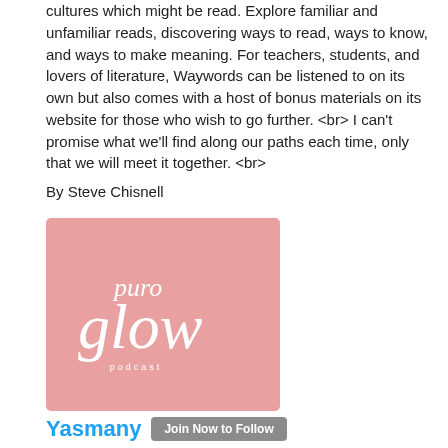cultures which might be read. Explore familiar and unfamiliar reads, discovering ways to read, ways to know, and ways to make meaning. For teachers, students, and lovers of literature, Waywords can be listened to on its own but also comes with a host of bonus materials on its website for those who wish to go further. <br> I can't promise what we'll find along our paths each time, only that we will meet it together. <br>
By Steve Chisnell
[Figure (logo): Puro Glow podcast logo — pink square background with white italic text reading 'puro glow podcast']
Yasmany  Join Now to Follow
Podcast con consejos sobre Belleza, Estilo de Vida, Tendencias, Novedades, Parejas, Sexo... todo para #VivirBonito mientras haces cosas más importantes. O no. Tu Sabrás. Te queremos igual. puroglow.com Instagram @PuroGlowPodcast #Yasmany
By Yasmany